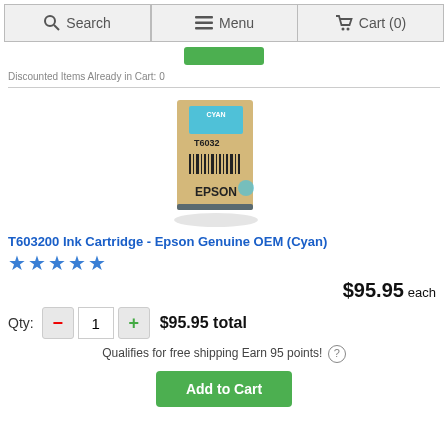Search   Menu   Cart (0)
Discounted Items Already in Cart: 0
[Figure (photo): Epson T6032 Cyan ink cartridge box product photo]
T603200 Ink Cartridge - Epson Genuine OEM (Cyan)
★★★★★
$95.95 each
Qty: 1   $95.95 total
Qualifies for free shipping Earn 95 points! ?
Add to Cart